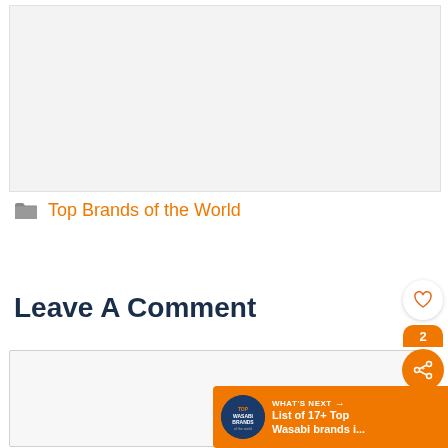[Figure (other): Light gray rectangular placeholder area at the top of the page]
Top Brands of the World
Leave A Comment
[Figure (other): Comment text input area - light gray box with border]
[Figure (infographic): Social widget on right side with heart/like button, count badge showing '2', and orange share button]
[Figure (infographic): What's Next banner at bottom right showing 'WHAT'S NEXT → List of 17+ Top Wasabi brands i...' with orange background and circular logo]